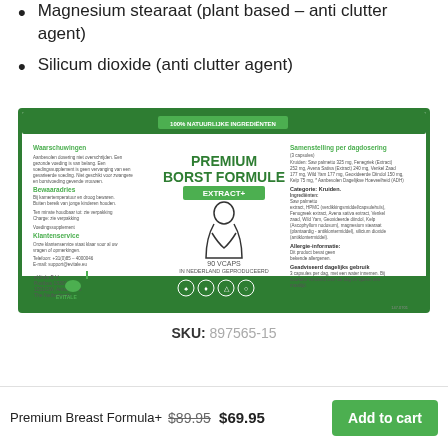Magnesium stearaat (plant based – anti clutter agent)
Silicum dioxide (anti clutter agent)
[Figure (photo): Product label for Premium Borst Formule Extract+ by eVitale B.V., showing Dutch supplement information, ingredients, warnings, customer service info, and icons. Green and white label design with 90 vcaps.]
SKU: 897565-15
Premium Breast Formula+ $89.95 $69.95 Add to cart